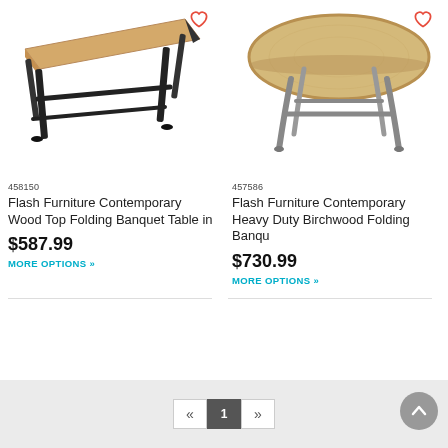[Figure (photo): Flash Furniture Contemporary Wood Top Folding Banquet Table with black legs, rectangular top, shown at angle with heart/wishlist icon top right]
[Figure (photo): Flash Furniture Contemporary Heavy Duty Birchwood Folding Banquet Table, round top, silver legs, heart/wishlist icon top right]
458150
457586
Flash Furniture Contemporary Wood Top Folding Banquet Table in
Flash Furniture Contemporary Heavy Duty Birchwood Folding Banqu
$587.99
$730.99
MORE OPTIONS »
MORE OPTIONS »
1